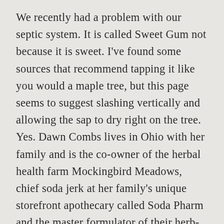We recently had a problem with our septic system. It is called Sweet Gum not because it is sweet. I've found some sources that recommend tapping it like you would a maple tree, but this page seems to suggest slashing vertically and allowing the sap to dry right on the tree. Yes. Dawn Combs lives in Ohio with her family and is the co-owner of the herbal health farm Mockingbird Meadows, chief soda jerk at her family's unique storefront apothecary called Soda Pharm and the master formulator of their herb- and honey-based products. i didn't even knew the exact name so i started with maple fruits and clicked on this picture. If you'd like to grow your own sweet gum, first understand that it's a commitment to